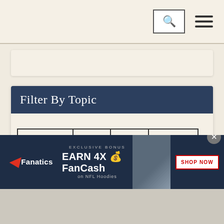Navigation bar with search and menu icons
Filter By Topic
Economy
Stock
Trade
National
[Figure (screenshot): Fanatics advertisement banner: EXCLUSIVE BONUS - EARN 4X FanCash on NFL Hoodies with SHOP NOW button and NFL hoodie image]